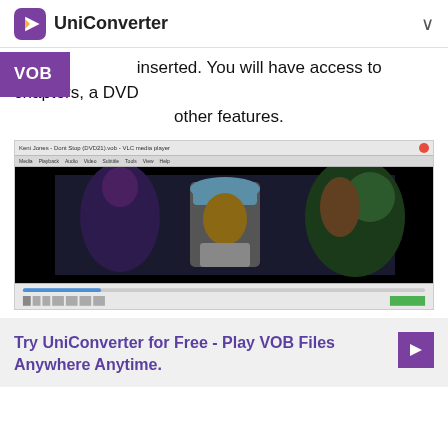UniConverter
DVD is inserted. You will have access to chapters, a DVD VOB other features.
[Figure (screenshot): VLC media player screenshot showing a music video with an artist wearing a blue bucket hat, flanked by two women, playing in the VLC media player window.]
Try UniConverter for Free - Play VOB Files Anywhere Anytime.